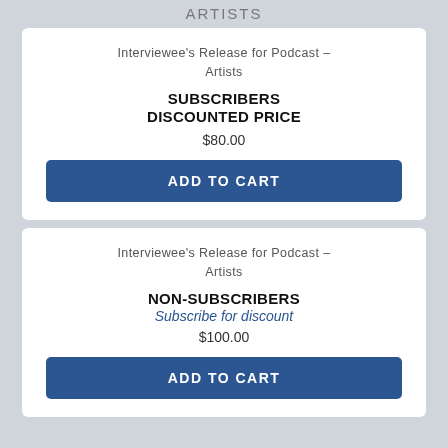ARTISTS
Interviewee's Release for Podcast – Artists
SUBSCRIBERS DISCOUNTED PRICE
$80.00
ADD TO CART
Interviewee's Release for Podcast – Artists
NON-SUBSCRIBERS
Subscribe for discount
$100.00
ADD TO CART